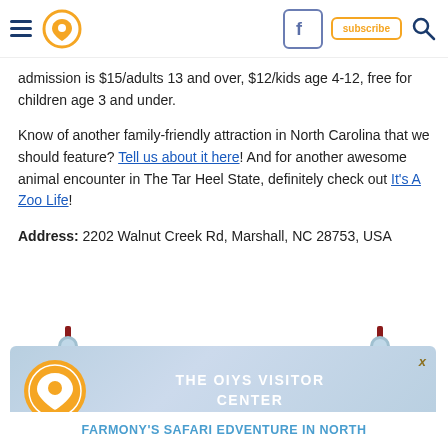[Navigation header with hamburger menu, location pin icon, Facebook icon, subscribe button, and search icon]
admission is $15/adults 13 and over, $12/kids age 4-12, free for children age 3 and under.
Know of another family-friendly attraction in North Carolina that we should feature? Tell us about it here! And for another awesome animal encounter in The Tar Heel State, definitely check out It's A Zoo Life!
Address: 2202 Walnut Creek Rd, Marshall, NC 28753, USA
[Figure (logo): THE OIYS VISITOR CENTER banner with location pin logo and close button]
FARMONY'S SAFARI EDVENTURE IN NORTH